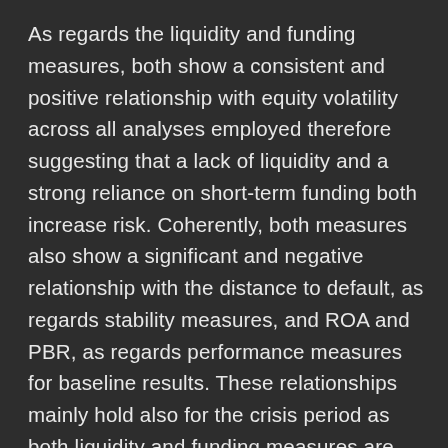As regards the liquidity and funding measures, both show a consistent and positive relationship with equity volatility across all analyses employed therefore suggesting that a lack of liquidity and a strong reliance on short-term funding both increase risk. Coherently, both measures also show a significant and negative relationship with the distance to default, as regards stability measures, and ROA and PBR, as regards performance measures for baseline results. These relationships mainly hold also for the crisis period as both liquidity and funding measures are negatively related to ROA and the funding measure still shows a negative relationship with the distance to default and the Z-score as well. As regards the moderating effect of size, the relationships between the distance to default and the funding measure and between the PBR and the funding measure are not